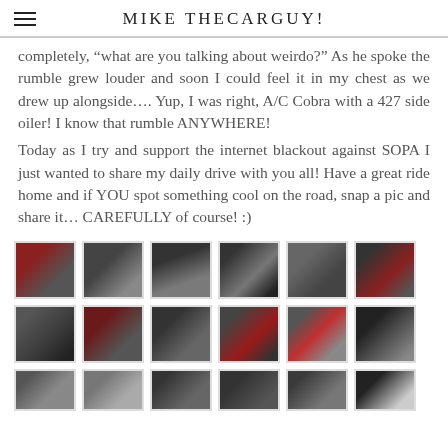MIKE THECARGUY!
completely, “what are you talking about weirdo?” As he spoke the rumble grew louder and soon I could feel it in my chest as we drew up alongside…. Yup, I was right, A/C Cobra with a 427 side oiler! I know that rumble ANYWHERE!
Today as I try and support the internet blackout against SOPA I just wanted to share my daily drive with you all! Have a great ride home and if YOU spot something cool on the road, snap a pic and share it… CAREFULLY of course! :)
[Figure (photo): Grid of thumbnail photos showing cars on roads, including what appear to be sports cars and muscle cars photographed from inside a vehicle while driving]
[Figure (photo): Second row of thumbnail photos of cars on roads]
[Figure (photo): Third row of thumbnail photos partially visible at bottom]